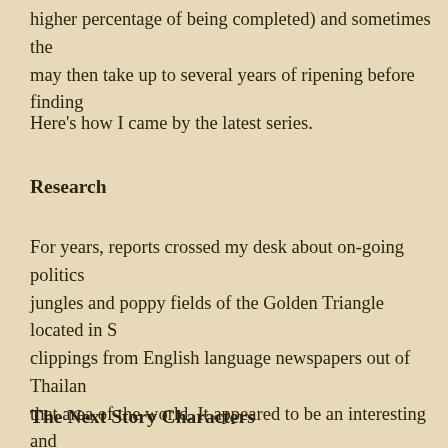higher percentage of being completed) and sometimes the may then take up to several years of ripening before finding
Here's how I came by the latest series.
Research
For years, reports crossed my desk about on-going politics jungles and poppy fields of the Golden Triangle located in S clippings from English language newspapers out of Thailan that area of the world. It appeared to be an interesting and a few years ago, our neighbor who runs a Chinese restaura table, if he wasn't too busy, and talk Chinese history with m wife sometimes had to translate the discussions from Manc was that he could Google a person or historical event from got a translation. Turns out that facts and viewpoints of par
The Next Story Characters